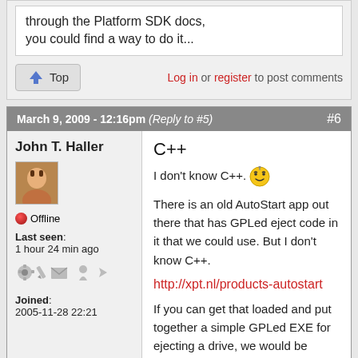through the Platform SDK docs, you could find a way to do it...
Log in or register to post comments
March 9, 2009 - 12:16pm (Reply to #5) #6
John T. Haller
Offline
Last seen: 1 hour 24 min ago
Joined: 2005-11-28 22:21
C++
I don't know C++.
There is an old AutoStart app out there that has GPLed eject code in it that we could use. But I don't know C++.
http://xpt.nl/products-autostart
If you can get that loaded and put together a simple GPLed EXE for ejecting a drive, we would be singing your praises.
Sometimes, the impossible can become